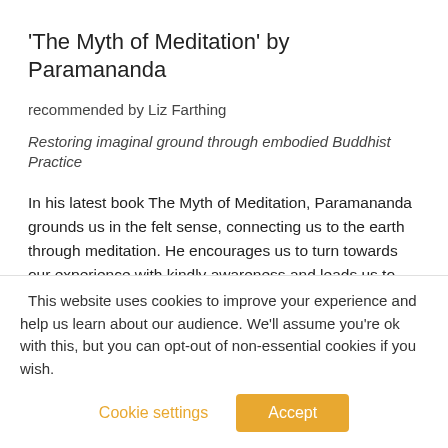'The Myth of Meditation' by Paramananda
recommended by Liz Farthing
Restoring imaginal ground through embodied Buddhist Practice
In his latest book The Myth of Meditation, Paramananda grounds us in the felt sense, connecting us to the earth through meditation. He encourages us to turn towards our experience with kindly awareness and leads us to see through to a new way of understanding and being in the world.
This website uses cookies to improve your experience and help us learn about our audience. We'll assume you're ok with this, but you can opt-out of non-essential cookies if you wish.
Cookie settings | Accept